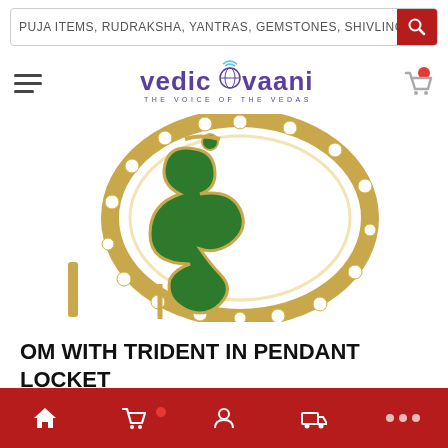PUJA ITEMS, RUDRAKSHA, YANTRAS, GEMSTONES, SHIVLING
[Figure (logo): Vedic Vaani logo with text 'vedic vaani - THE VOICE OF THE VEDAS']
[Figure (photo): Close-up photo of an Om (ॐ) pendant locket in gold with green enamel and crystal/rhinestone embellishments around the circular frame]
OM WITH TRIDENT IN PENDANT LOCKET
Bottom navigation bar with home, cart, account, delivery, and more icons